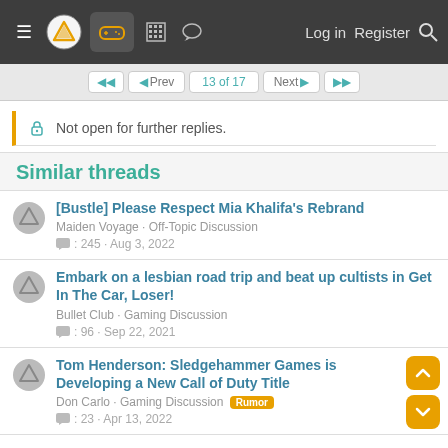Navigation bar with logo, controller icon, building icon, chat icon, Log in, Register, Search
Prev · 13 of 17 · Next
Not open for further replies.
Similar threads
[Bustle] Please Respect Mia Khalifa's Rebrand
Maiden Voyage · Off-Topic Discussion
: 245 · Aug 3, 2022
Embark on a lesbian road trip and beat up cultists in Get In The Car, Loser!
Bullet Club · Gaming Discussion
: 96 · Sep 22, 2021
Tom Henderson: Sledgehammer Games is Developing a New Call of Duty Title
Don Carlo · Gaming Discussion [Rumor]
: 23 · Apr 13, 2022